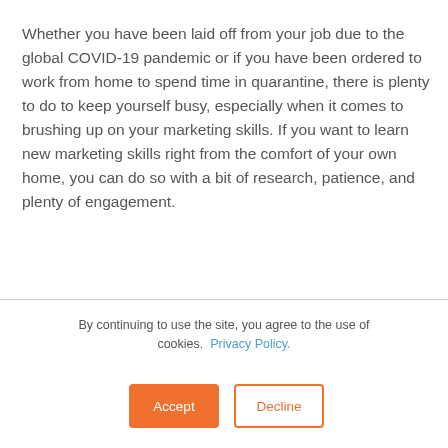Whether you have been laid off from your job due to the global COVID-19 pandemic or if you have been ordered to work from home to spend time in quarantine, there is plenty to do to keep yourself busy, especially when it comes to brushing up on your marketing skills. If you want to learn new marketing skills right from the comfort of your own home, you can do so with a bit of research, patience, and plenty of engagement.
read more >
By continuing to use the site, you agree to the use of cookies. Privacy Policy.